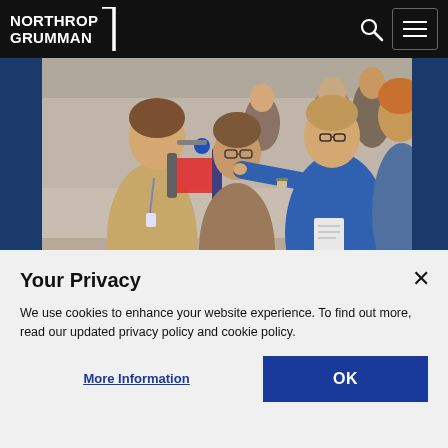NORTHROP GRUMMAN
[Figure (photo): Group of students and a mentor in a blue shirt examining a small drone/robotic device at what appears to be an educational event or competition]
Your Privacy
We use cookies to enhance your website experience. To find out more, read our updated privacy policy and cookie policy.
More Information
OK